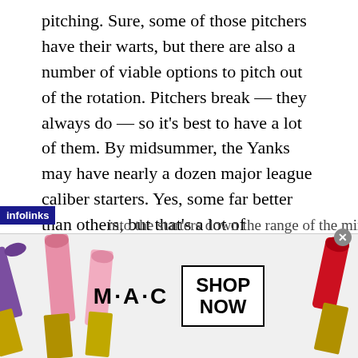pitching. Sure, some of those pitchers have their warts, but there are also a number of viable options to pitch out of the rotation. Pitchers break — they always do — so it's best to have a lot of them. By midsummer, the Yanks may have nearly a dozen major league caliber starters. Yes, some far better than others, but that's a lot of insurance.
Today, it's time to preview the organization's starters. Not just those who'll see major league time, either. Like my catcher preview or Dom's corner infield breakdown,
…into the starters down the range of the minor…
[Figure (advertisement): M·A·C cosmetics advertisement showing lipsticks on left and right sides, M·A·C logo in center, and a 'SHOP NOW' box. InfoLinks bar visible at bottom of article area.]